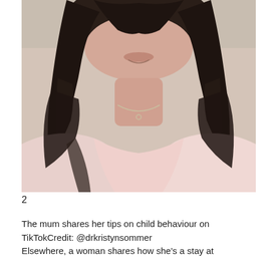[Figure (photo): Close-up photo of a woman with long dark hair wearing a light pink sleeveless top, looking into the camera with a slight smile. The image is cropped from the chin down to the chest area.]
2
The mum shares her tips on child behaviour on TikTokCredit: @drkristynsommer
Elsewhere, a woman shares how she's a stay at